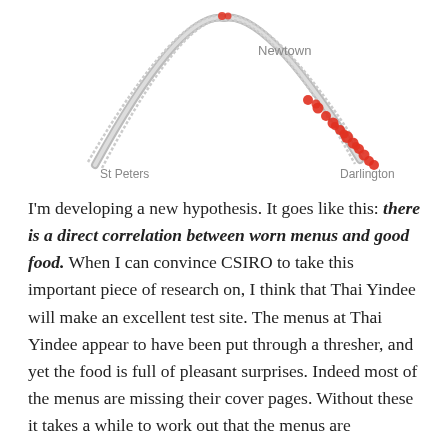[Figure (map): A map showing a curving street or route arc from St Peters (bottom left) through Newtown (top center) to Darlington (bottom right). The route is shown as a grey line with a cluster of red dots concentrated along the right (Darlington) section of the arc. Place name labels: Newtown (top center), St Peters (bottom left), Darlington (bottom right).]
I'm developing a new hypothesis. It goes like this: there is a direct correlation between worn menus and good food. When I can convince CSIRO to take this important piece of research on, I think that Thai Yindee will make an excellent test site. The menus at Thai Yindee appear to have been put through a thresher, and yet the food is full of pleasant surprises. Indeed most of the menus are missing their cover pages. Without these it takes a while to work out that the menus are